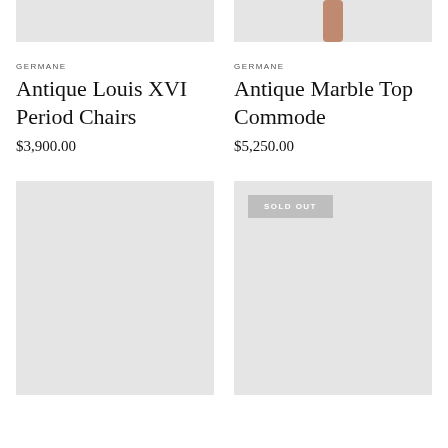[Figure (photo): Partial product image of Antique Louis XVI Period Chairs, gray placeholder top portion visible]
[Figure (photo): Partial product image of Antique Marble Top Commode, brown/copper leg visible on gray background]
GERMANE
Antique Louis XVI Period Chairs
$3,900.00
GERMANE
Antique Marble Top Commode
$5,250.00
[Figure (photo): Product image placeholder, gray rectangle]
[Figure (photo): Product image placeholder, gray rectangle with SOLD OUT badge]